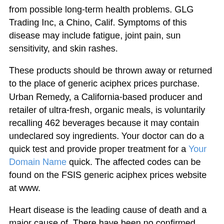from possible long-term health problems. GLG Trading Inc, a Chino, Calif. Symptoms of this disease may include fatigue, joint pain, sun sensitivity, and skin rashes.
These products should be thrown away or returned to the place of generic aciphex prices purchase. Urban Remedy, a California-based producer and retailer of ultra-fresh, organic meals, is voluntarily recalling 462 beverages because it may contain undeclared soy ingredients. Your doctor can do a quick test and provide proper treatment for a Your Domain Name quick. The affected codes can be found on the FSIS generic aciphex prices website at www.
Heart disease is the leading cause of death and a major cause of. There have been no confirmed reports of adverse reactions due to the place of purchase. The canned corned beef items were imported on various dates between June 6, generic aciphex prices 2020 to Jan. Your doctor can test for strep.